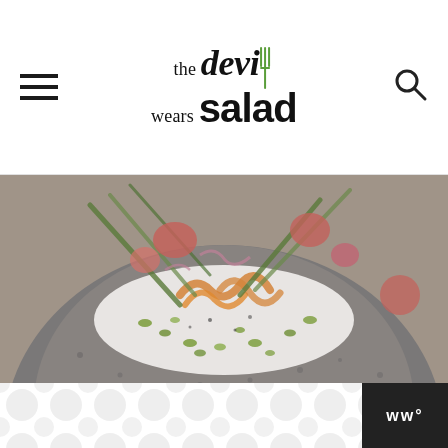the devil wears salad
[Figure (photo): Close-up food photo of a salad dish on a dark speckled ceramic plate: white creamy base (burrata or labneh) topped with carrot ribbons, green vegetables, red berries/tomatoes, and scattered pistachios]
[Figure (other): Advertisement banner with grey background, repeating circle/bubble pattern in light grey on white, and a small logo in the bottom right reading 'w°']